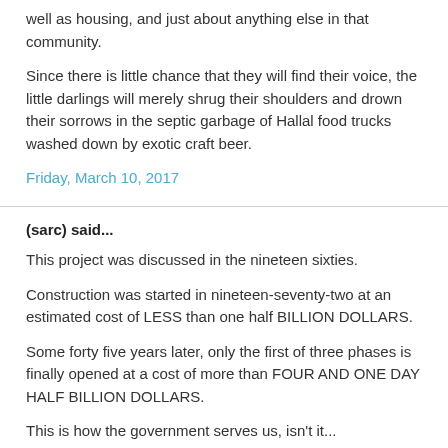well as housing, and just about anything else in that community.
Since there is little chance that they will find their voice, the little darlings will merely shrug their shoulders and drown their sorrows in the septic garbage of Hallal food trucks washed down by exotic craft beer.
Friday, March 10, 2017
(sarc) said...
This project was discussed in the nineteen sixties.
Construction was started in nineteen-seventy-two at an estimated cost of LESS than one half BILLION DOLLARS.
Some forty five years later, only the first of three phases is finally opened at a cost of more than FOUR AND ONE DAY HALF BILLION DOLLARS.
This is how the government serves us, isn't it...